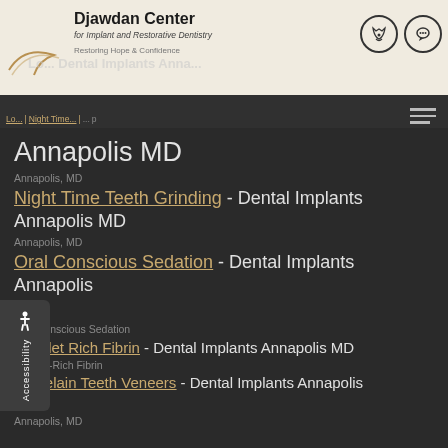Djawdan Center for Implant and Restorative Dentistry – Restoring Hope & Confidence
Annapolis MD
Annapolis, MD
Night Time Teeth Grinding - Dental Implants Annapolis MD
Annapolis, MD
Oral Conscious Sedation - Dental Implants Annapolis MD
Oral Conscious Sedation
Platelet Rich Fibrin - Dental Implants Annapolis MD
Platelet-Rich Fibrin
Porcelain Teeth Veneers - Dental Implants Annapolis MD
Annapolis, MD